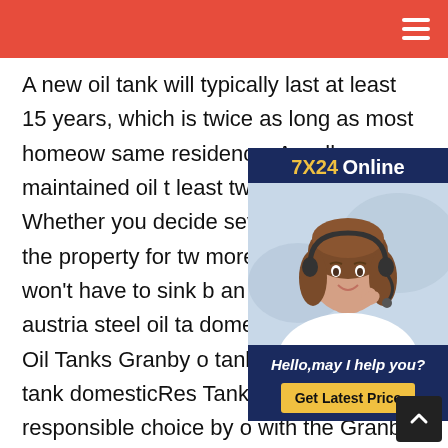A new oil tank will typically last at least 15 years, which is twice as long as most homeow same residence. A well-maintained oil t least two decades. Whether you decide seven years or keep the property for tw more, you probably won't have to sink b an oil heat tank once austria steel oil ta domesticResidential Oil Tanks Granby o tanks austria steel oil tank domesticRes Tanks . Make a responsible choice by o with the Granby Storage Tanks quality seal. Experience. Powered by more than 63 years of experience on the petroleum storage tanks market, Granby Storage Tank s products are Which is the best oil tank on the mark Which is the best oil tank on the market?Powered by
[Figure (illustration): Customer service widget showing a woman with a headset smiling, with '7X24 Online' header in navy blue, greeting text 'Hello,may I help you?' and a gold 'Get Latest Price' button]